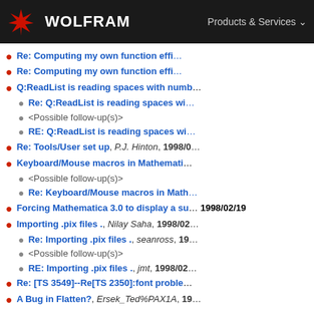WOLFRAM | Products & Services
Re: Computing my own function efficiently
Re: Computing my own function efficiently
Q:ReadList is reading spaces with numbers
Re: Q:ReadList is reading spaces with numbers
<Possible follow-up(s)>
RE: Q:ReadList is reading spaces with numbers
Re: Tools/User set up, P.J. Hinton, 1998/0...
Keyboard/Mouse macros in Mathematica
<Possible follow-up(s)>
Re: Keyboard/Mouse macros in Math...
Forcing Mathematica 3.0 to display a su... 1998/02/19
Importing .pix files ., Nilay Saha, 1998/02...
Re: Importing .pix files ., seanross, 19...
<Possible follow-up(s)>
RE: Importing .pix files ., jmt, 1998/02...
Re: [TS 3549]--Re[TS 2350]:font problem...
A Bug in Flatten?, Ersek_Ted%PAX1A, 19...